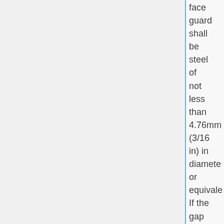face guard shall be steel of not less than 4.76mm (3/16 in) in diameter or equivale. If the gap between supporti cross-